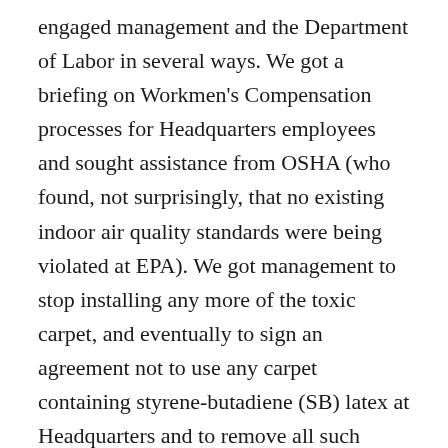engaged management and the Department of Labor in several ways. We got a briefing on Workmen's Compensation processes for Headquarters employees and sought assistance from OSHA (who found, not surprisingly, that no existing indoor air quality standards were being violated at EPA). We got management to stop installing any more of the toxic carpet, and eventually to sign an agreement not to use any carpet containing styrene-butadiene (SB) latex at Headquarters and to remove all such carpet that had been installed. We won the right for employees to vote on what kind of new floor coverings they wanted in their work space and we conducted elections in many work units on this question. We got the four part health and environmental quality study run and results